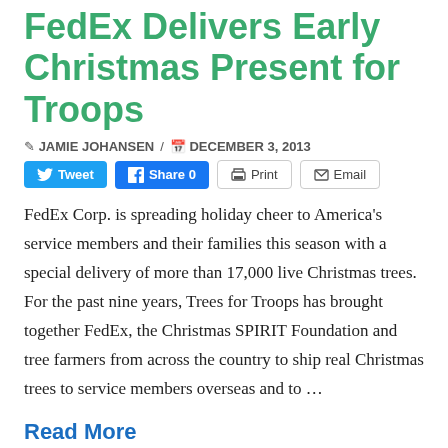FedEx Delivers Early Christmas Present for Troops
✏ JAMIE JOHANSEN / 📅 DECEMBER 3, 2013
[Figure (other): Social sharing buttons: Tweet, Share 0, Print, Email]
FedEx Corp. is spreading holiday cheer to America's service members and their families this season with a special delivery of more than 17,000 live Christmas trees. For the past nine years, Trees for Troops has brought together FedEx, the Christmas SPIRIT Foundation and tree farmers from across the country to ship real Christmas trees to service members overseas and to ...
Read More
Conservation, Forestry
An Early... More